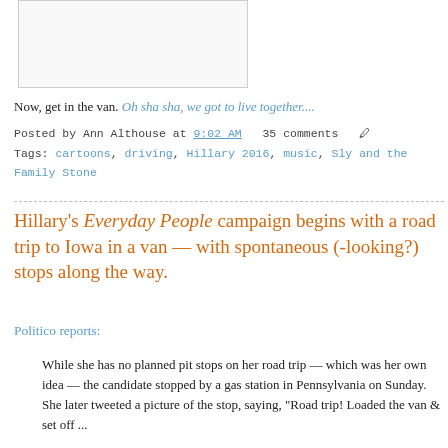[Figure (photo): Placeholder image box at top left]
Now, get in the van. Oh sha sha, we got to live together....
Posted by Ann Althouse at 9:02 AM   35 comments
Tags: cartoons, driving, Hillary 2016, music, Sly and the Family Stone
Hillary's Everyday People campaign begins with a road trip to Iowa in a van — with spontaneous (-looking?) stops along the way.
Politico reports:
While she has no planned pit stops on her road trip — which was her own idea — the candidate stopped by a gas station in Pennsylvania on Sunday. She later tweeted a picture of the stop, saying, "Road trip! Loaded the van & set off ...